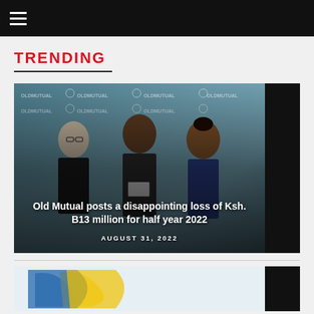≡
TRENDING
[Figure (photo): Three people posing in front of Old Mutual branded backdrop — two men and one woman. The backdrop shows the Old Mutual logo and text repeated. Text overlay reads 'Old Mutual posts a disappointing loss of Ksh. B13 million for half year 2022' and date 'AUGUST 31, 2022'.]
Old Mutual posts a disappointing loss of Ksh. B13 million for half year 2022
AUGUST 31, 2022
[Figure (photo): Partial view of a second article image showing what appears to be a logo with blue and yellow elements.]